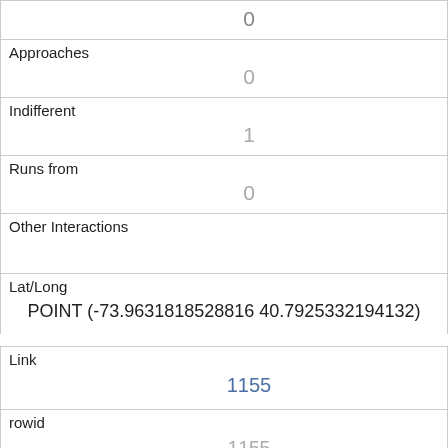| Approaches | 0 |
| Indifferent | 1 |
| Runs from | 0 |
| Other Interactions |  |
| Lat/Long | POINT (-73.9631818528816 40.7925332194132) |
| Link | 1155 |
| rowid | 1155 |
| longitude | -73.964572179093 |
| latitude | 40.7811208719018 |
| Unique Squirrel ID |  |